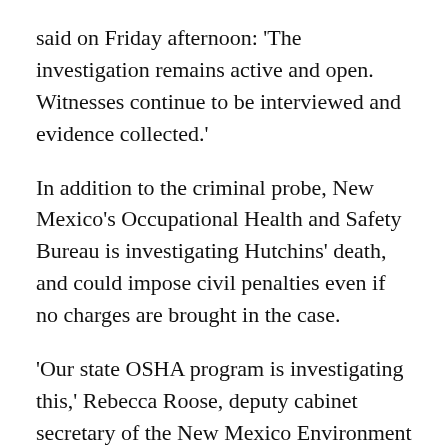said on Friday afternoon: 'The investigation remains active and open. Witnesses continue to be interviewed and evidence collected.'
In addition to the criminal probe, New Mexico's Occupational Health and Safety Bureau is investigating Hutchins' death, and could impose civil penalties even if no charges are brought in the case.
'Our state OSHA program is investigating this,' Rebecca Roose, deputy cabinet secretary of the New Mexico Environment Department,' told Deadline.
'The state takes all workplace safety issues very seriously, and will work diligently to thoroughly...